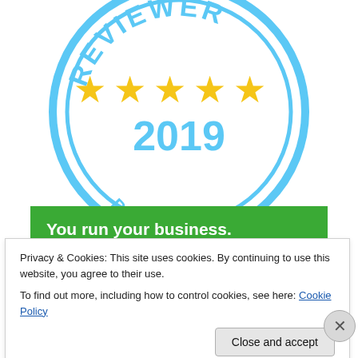[Figure (logo): Reedsy Top Reviewer badge with blue circle border, five gold stars, year 2019, and text BY REEDSY in blue]
[Figure (screenshot): Green banner with white bold text: You run your business.]
Privacy & Cookies: This site uses cookies. By continuing to use this website, you agree to their use.
To find out more, including how to control cookies, see here: Cookie Policy
Close and accept